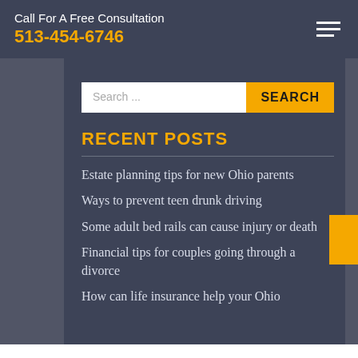Call For A Free Consultation
513-454-6746
[Figure (screenshot): Search bar with text input field showing 'Search ...' placeholder and a yellow 'SEARCH' button]
RECENT POSTS
Estate planning tips for new Ohio parents
Ways to prevent teen drunk driving
Some adult bed rails can cause injury or death
Financial tips for couples going through a divorce
How can life insurance help your Ohio